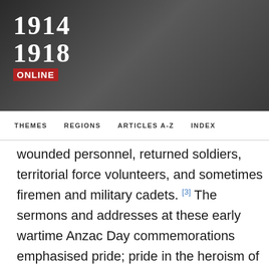[Figure (logo): 1914-1918 Online website logo with red ONLINE banner on dark background]
THEMES   REGIONS   ARTICLES A-Z   INDEX
wounded personnel, returned soldiers, territorial force volunteers, and sometimes firemen and military cadets. [3] The sermons and addresses at these early wartime Anzac Day commemorations emphasised pride; pride in the heroism of the soldiers, the achievements of New Zealand's military contribution, and pride over New Zealand's loyalty and service to Empire. Participants at these events also